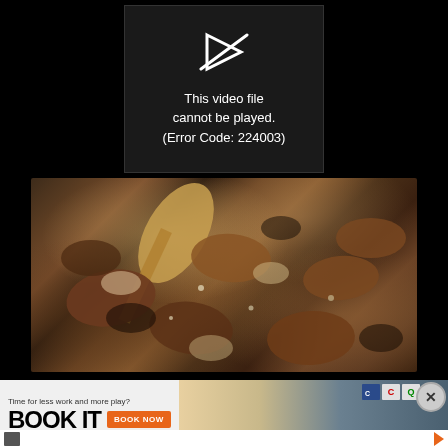[Figure (screenshot): Video player error screen on black background showing a broken play icon and error message: 'This video file cannot be played. (Error Code: 224003)']
[Figure (photo): Close-up photo of sautéed mushrooms with a wooden spoon in a pan]
[Figure (screenshot): Advertisement banner: 'Time for less work and more play? BOOK IT [BOOK NOW button]' with hotel brand logos (Choice Hotels brands) and a close button]